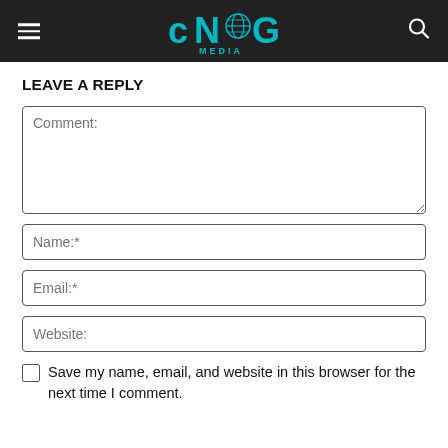[Figure (logo): CNG Media logo in teal/cyan on dark background header with hamburger menu icon on left and search icon on right]
LEAVE A REPLY
Comment:
Name:*
Email:*
Website:
Save my name, email, and website in this browser for the next time I comment.